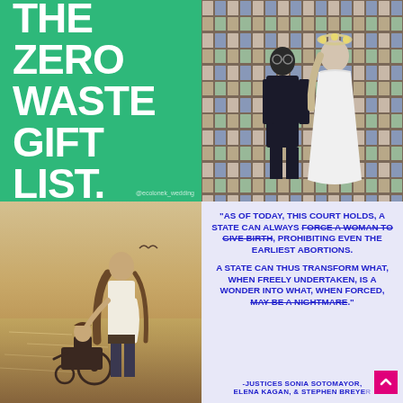[Figure (illustration): Green background with large bold white text reading 'THE ZERO WASTE GIFT LIST.' with small credit text at bottom right]
[Figure (photo): Wedding couple standing together in front of a wall covered in posters/records. Man in dark suit with beard, woman in white lace dress with floral crown.]
[Figure (photo): Silhouette of a woman/mother and child (in wheelchair) looking out at a body of water at sunset/golden hour.]
[Figure (infographic): Light purple/lavender background with bold blue text quote from Justices Sonia Sotomayor, Elena Kagan, & Stephen Breyer about abortion rights. Quote reads: 'AS OF TODAY, THIS COURT HOLDS, A STATE CAN ALWAYS FORCE A WOMAN TO GIVE BIRTH (strikethrough), PROHIBITING EVEN THE EARLIEST ABORTIONS. A STATE CAN THUS TRANSFORM WHAT, WHEN FREELY UNDERTAKEN, IS A WONDER INTO WHAT, WHEN FORCED, MAY BE A NIGHTMARE.' with attribution to the three justices. Pink arrow button in bottom right corner.]